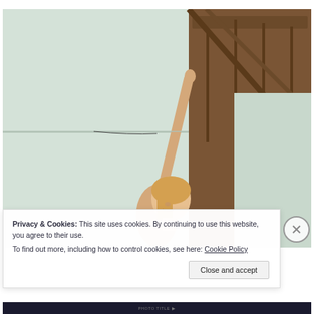[Figure (photo): A blond woman in a construction/home improvement setting, raising her arm up toward the ceiling. The space has wooden beam ceiling visible on the right side and large pale grey/white wall panels or boards. The woman is smiling and appears to be measuring or touching the upper edge of a panel.]
Privacy & Cookies: This site uses cookies. By continuing to use this website, you agree to their use.
To find out more, including how to control cookies, see here: Cookie Policy
Close and accept